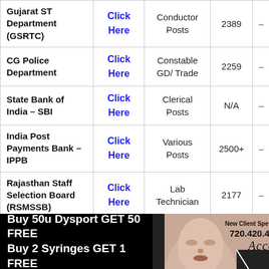| Organization | Link | Post | Vacancies |  |
| --- | --- | --- | --- | --- |
| Gujarat ST Department (GSRTC) | Click Here | Conductor Posts | 2389 | – |
| CG Police Department | Click Here | Constable GD/ Trade | 2259 | – |
| State Bank of India – SBI | Click Here | Clerical Posts | N/A | – |
| India Post Payments Bank – IPPB | Click Here | Various Posts | 2500+ | – |
| Rajasthan Staff Selection Board (RSMSSB) | Click Here | Lab Technician | 2177 | – |
| ...ve Bank of | Click | Variou... |  |  |
[Figure (infographic): Advertisement banner: Black background on left with white bold text 'Buy 50u Dysport GET 50 FREE / Buy 2 Syringes GET 1 FREE'. Right side shows a woman's face with 'New Client Spe...', '720.420.4090', and 'Accent' logo script.]